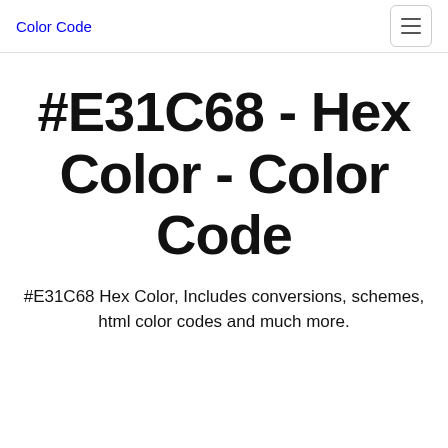Color Code
#E31C68 - Hex Color - Color Code
#E31C68 Hex Color, Includes conversions, schemes, html color codes and much more.